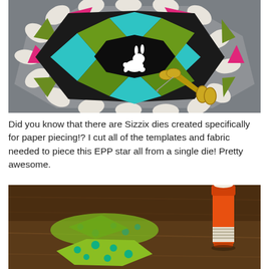[Figure (photo): A colorful EPP (English Paper Piecing) star quilt block in black, teal, pink, green, and white patterned fabrics with a white rabbit silhouette in the center, laid on a gray surface next to a pair of gold scissors and a needle.]
Did you know that there are Sizzix dies created specifically for paper piecing!? I cut all of the templates and fabric needed to piece this EPP star all from a single die! Pretty awesome.
[Figure (photo): Close-up photo of green patterned fabric pieces and an orange glue stick on a wooden surface, blurred background.]